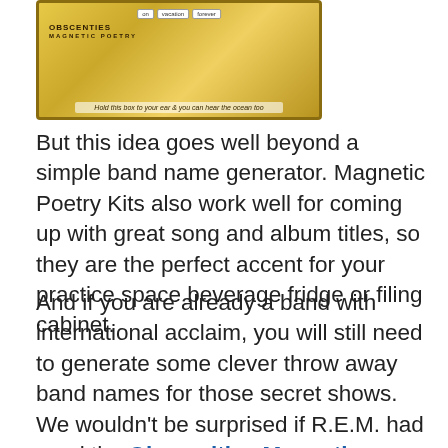[Figure (photo): A yellow/gold magnetic poetry kit box shown at an angle. The box has small white word tiles on it and text reading 'Hold this box to your ear & you can hear the ocean too' along the bottom edge. Small word tiles reading 'on', 'vacation', 'forever' visible at top.]
But this idea goes well beyond a simple band name generator. Magnetic Poetry Kits also work well for coming up with great song and album titles, so they are the perfect accent for your practice space beverage fridge or filing cabinet.
And if you are already a band with international acclaim, you will still need to generate some clever throw away band names for those secret shows. We wouldn't be surprised if R.E.M. had used the Obscenities Magnetic Poetry Kit to come up with “Bingo Hand Job”, the name they used for a few of their secret shows.